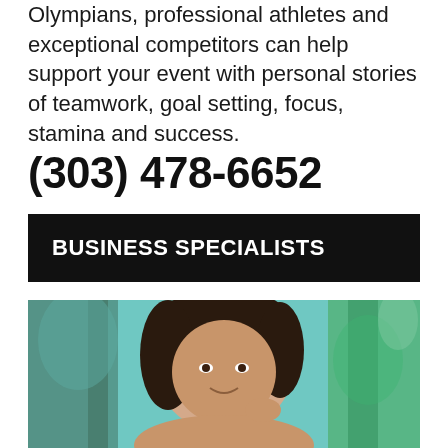Olympians, professional athletes and exceptional competitors can help support your event with personal stories of teamwork, goal setting, focus, stamina and success.
(303) 478-6652
BUSINESS SPECIALISTS
[Figure (photo): Professional headshot of a dark-haired woman smiling, with a blurred teal/green background.]